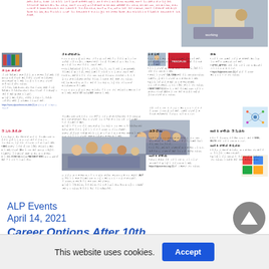[Figure (photo): Telugu newspaper article page with multiple columns and images about career options]
[Figure (photo): People working at a desk with papers and devices - top right photo]
[Figure (photo): Books/law books image in newspaper]
[Figure (photo): Principles red book cover in newspaper]
[Figure (photo): Business people meeting photo in newspaper]
[Figure (photo): Tech/network diagram image top right of right column]
[Figure (photo): Colorful puzzle pieces illustration]
ALP Events
April 14, 2021
Career Options After 10th
This website uses cookies.
Accept